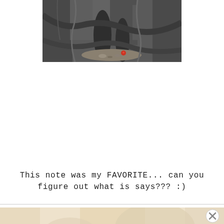[Figure (photo): Close-up photo of gnarled tree roots/trunk, dark grey bark texture with gravel and a small red object visible between the roots]
This note was my FAVORITE... can you figure out what is says??? :)
[Figure (photo): Partial photo visible at bottom of page, light/warm toned image, partially cut off]